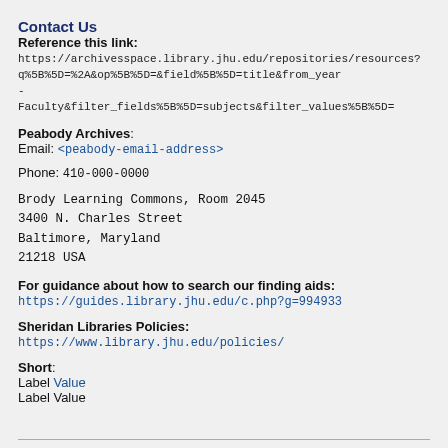Contact Us
Reference this link:
https://archivesspace.library.jhu.edu/repositories/resources?q%5B%5D=%2A&op%5B%5D=&field%5B%5D=title&from_year-
Faculty&filter_fields%5B%5D=subjects&filter_values%5B%5D=
Peabody Archives:
Email: <peabody-email-address>

Phone: 410-000-0000
Brody Learning Commons, Room 2045
3400 N. Charles Street
Baltimore, Maryland
21218 USA
For guidance about how to search our finding aids:
https://guides.library.jhu.edu/c.php?g=994933
Sheridan Libraries Policies:
https://www.library.jhu.edu/policies/
Short:
Label Value
Label Value